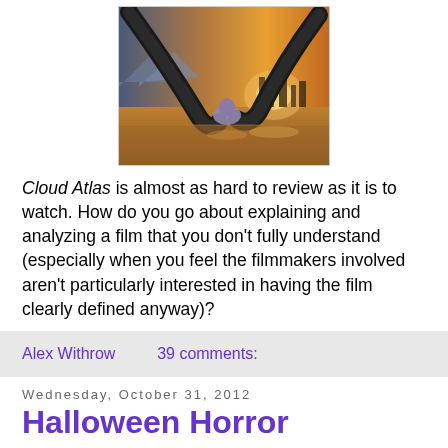[Figure (photo): Still from Cloud Atlas movie showing a futuristic scene with a figure crouching under dark mechanical wings against a warm sunset cityscape background]
Cloud Atlas is almost as hard to review as it is to watch. How do you go about explaining and analyzing a film that you don't fully understand (especially when you feel the filmmakers involved aren't particularly interested in having the film clearly defined anyway)?
Alex Withrow    39 comments:
Wednesday, October 31, 2012
Halloween Horror Marathon: The Scariest Scene I've Ever Seen